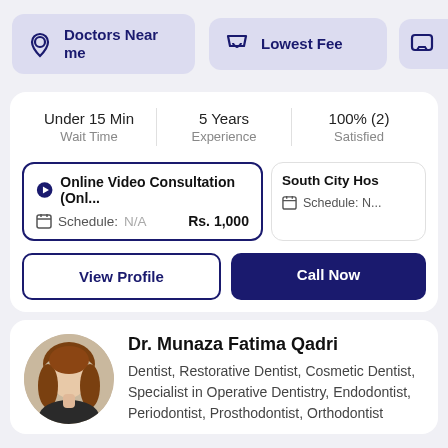[Figure (screenshot): Top navigation bar with 'Doctors Near me' button (location pin icon, purple/lavender background), 'Lowest Fee' button (shield icon, purple/lavender background), and a partially visible third button (chat icon)]
Under 15 Min Wait Time
5 Years Experience
100% (2) Satisfied
Online Video Consultation (Onl... Schedule: N/A Rs. 1,000
South City Hos Schedule: N...
View Profile
Call Now
[Figure (photo): Circular profile photo of Dr. Munaza Fatima Qadri, a woman with brown/auburn hair]
Dr. Munaza Fatima Qadri
Dentist, Restorative Dentist, Cosmetic Dentist, Specialist in Operative Dentistry, Endodontist, Periodontist, Prosthodontist, Orthodontist